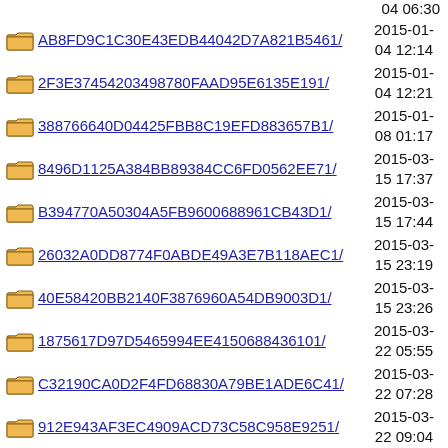04 06:30
AB8FD9C1C30E43EDB44042D7A821B5461/ 2015-01-04 12:14
2F3E37454203498780FAAD95E6135E191/ 2015-01-04 12:21
388766640D04425FBB8C19EFD883657B1/ 2015-01-08 01:17
8496D1125A384BB89384CC6FD0562EE71/ 2015-03-15 17:37
B394770A50304A5FB9600688961CB43D1/ 2015-03-15 17:44
26032A0DD8774F0ABDE49A3E7B118AEC1/ 2015-03-15 23:19
40E58420BB2140F3876960A54DB9003D1/ 2015-03-15 23:26
1875617D97D5465994EE4150688436101/ 2015-03-22 05:55
C32190CA0D2F4FD68830A79BE1ADE6C41/ 2015-03-22 07:28
912E943AF3EC4909ACD73C58C958E9251/ 2015-03-22 09:04
61674C73DB0B4D488DA1FE51AC1A9B9B1/ 2015-03-22 09:10